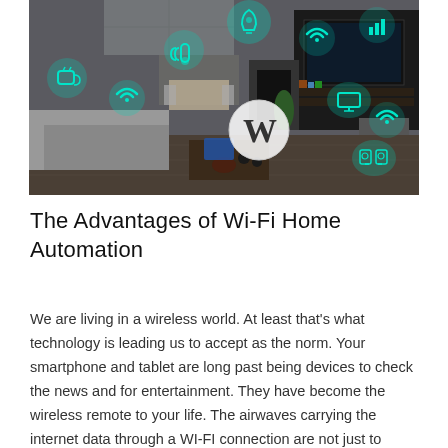[Figure (photo): Smart home interior photograph showing a modern living room with IoT device icons overlaid — Wi-Fi signals, smart lightbulb, thermometer, TV/monitor, speakers, kettle, and a central 'W' logo circle (Wi-Fi router branding). Teal/cyan glowing icons float above furniture and appliances.]
The Advantages of Wi-Fi Home Automation
We are living in a wireless world. At least that's what technology is leading us to accept as the norm. Your smartphone and tablet are long past being devices to check the news and for entertainment. They have become the wireless remote to your life. The airwaves carrying the internet data through a WI-FI connection are not just to check your social